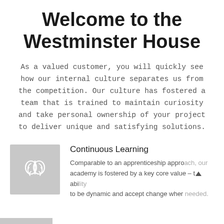Welcome to the Westminster House
As a valued customer, you will quickly see how our internal culture separates us from the competition. Our culture has fostered a team that is trained to maintain curiosity and take personal ownership of your project to deliver unique and satisfying solutions.
[Figure (illustration): Gray square icon with a brain symbol inside]
Continuous Learning
Comparable to an apprenticeship approach, our academy is fostered by a key core value – the ability to be dynamic and accept change when needed.